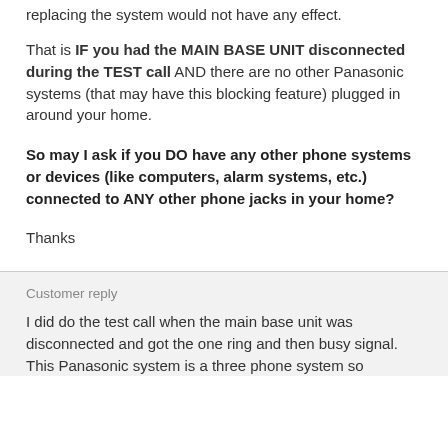replacing the system would not have any effect.
That is IF you had the MAIN BASE UNIT disconnected during the TEST call AND there are no other Panasonic systems (that may have this blocking feature) plugged in around your home.
So may I ask if you DO have any other phone systems or devices (like computers, alarm systems, etc.) connected to ANY other phone jacks in your home?
Thanks
Customer reply
I did do the test call when the main base unit was disconnected and got the one ring and then busy signal. This Panasonic system is a three phone system so